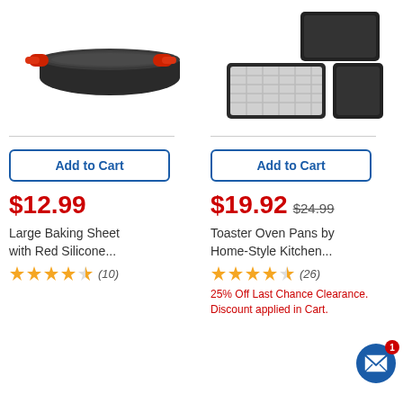[Figure (photo): Large baking sheet with red silicone handles on a white background]
[Figure (photo): Set of three toaster oven pans including a rack and two dark pans on a white background]
Add to Cart
Add to Cart
$12.99
$19.92  $24.99
Large Baking Sheet with Red Silicone...
Toaster Oven Pans by Home-Style Kitchen...
★★★★½ (10)
★★★★½ (26)
25% Off Last Chance Clearance. Discount applied in Cart.